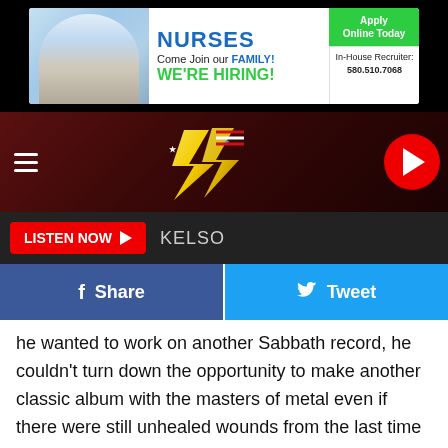[Figure (other): Nurses recruitment advertisement banner: photo of nurses, text 'NURSES Come Join our FAMILY! WE'RE HIRING!' with 'Apply Online Today' green button and 'In-House Recruiter: 580.510.7068']
[Figure (other): Website navigation bar with dark red background, hamburger menu icon on left, stylized '104.1' or similar radio station logo in center, red circular play button on right]
[Figure (other): Navigation bar with red 'LISTEN NOW ▶' button and text 'KELSO' on dark background]
[Figure (other): Social sharing buttons: blue Facebook 'f Share' button and light blue Twitter bird 'Tweet' button]
he wanted to work on another Sabbath record, he couldn't turn down the opportunity to make another classic album with the masters of metal even if there were still unhealed wounds from the last time the musicians had worked together.
ADVERTISEMENT
[Figure (other): Nurses recruitment advertisement banner repeated at bottom: photo of nurses, text 'NURSES Come Join our FAMILY! WE'RE HIRING!' with 'Apply Online Today' green button and 'In-House Recruiter: 580.510.7068']